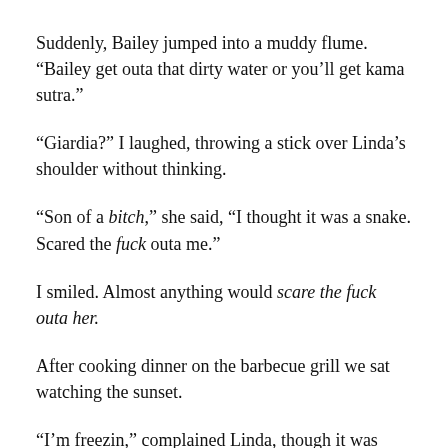Suddenly, Bailey jumped into a muddy flume. “Bailey get outa that dirty water or you’ll get kama sutra.”
“Giardia?” I laughed, throwing a stick over Linda’s shoulder without thinking.
“Son of a bitch,” she said, “I thought it was a snake. Scared the fuck outa me.”
I smiled. Almost anything would scare the fuck outa her.
After cooking dinner on the barbecue grill we sat watching the sunset.
“I’m freezin,” complained Linda, though it was warm. Then, “I’m burnin up.”